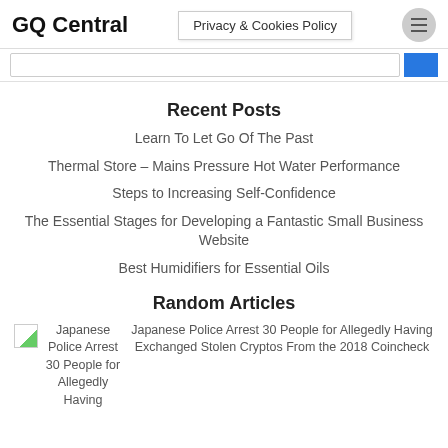GQ Central
Privacy & Cookies Policy
Recent Posts
Learn To Let Go Of The Past
Thermal Store – Mains Pressure Hot Water Performance
Steps to Increasing Self-Confidence
The Essential Stages for Developing a Fantastic Small Business Website
Best Humidifiers for Essential Oils
Random Articles
[Figure (photo): Broken image thumbnail for Japanese Police Arrest 30 People for Allegedly Having article]
Japanese Police Arrest 30 People for Allegedly Having
Japanese Police Arrest 30 People for Allegedly Having Exchanged Stolen Cryptos From the 2018 Coincheck